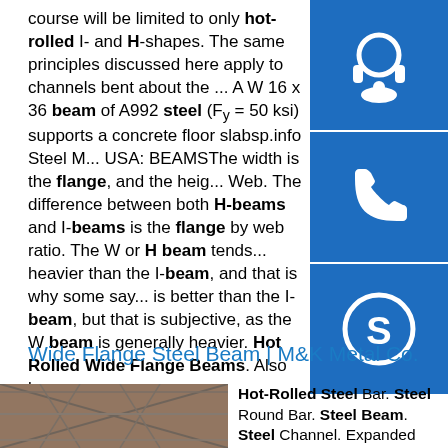course will be limited to only hot-rolled I- and H-shapes. The same principles discussed here apply to channels bent about the ... A W 16 x 36 beam of A992 steel (Fy = 50 ksi) supports a concrete floor slabsp.info Steel M... USA: BEAMSThe width is the flange, and the heig... Web. The difference between both H-beams and I-beams is the flange by web ratio. The W or H beam tends... heavier than the I-beam, and that is why some say... is better than the I-beam, but that is subjective, as the W beam is generally heavier. Hot Rolled Wide Flange Beams. Also known ...
[Figure (infographic): Three blue sidebar buttons: headset/customer service icon, phone icon, Skype icon]
Wide Flange Steel Beam | M&K Metal Co.
[Figure (photo): Photo of steel truss/beam structure construction site]
Hot-Rolled Steel Bar. Steel Round Bar. Steel Beam. Steel Channel. Expanded Steel. Steel Pipe & Steel Round Tube. Steel Rectangular / Square Tube.